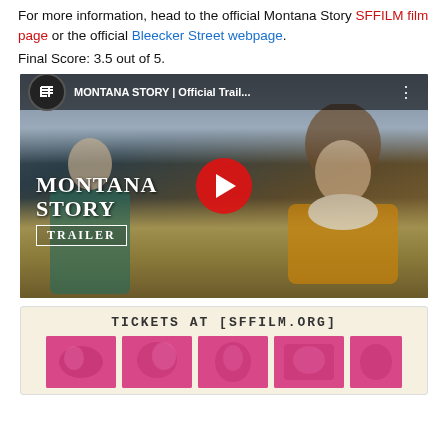For more information, head to the official Montana Story SFFILM film page or the official Bleecker Street webpage.
Final Score: 3.5 out of 5.
[Figure (screenshot): YouTube embedded video player showing Montana Story official trailer. Dark cinematic thumbnail with two figures in a field, red play button in center, title 'MONTANA STORY | Official Trail...' in top bar with YouTube logo, 'MONTANA STORY TRAILER' text overlay at bottom left.]
[Figure (screenshot): SFFILM ticket advertisement banner on cream/beige background. Text 'TICKETS AT [SFFILM.ORG]' in monospace font at top. Five pink/magenta stamp-like images of film scenes below.]